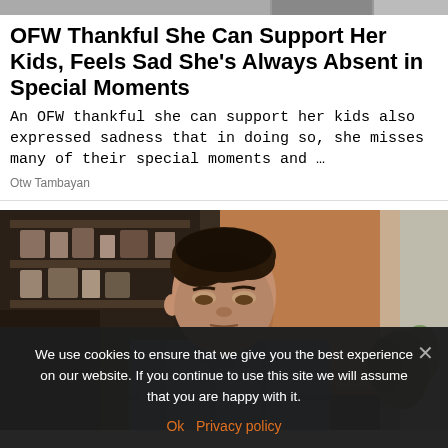[Figure (photo): Top strip showing partial images of people]
OFW Thankful She Can Support Her Kids, Feels Sad She's Always Absent in Special Moments
An OFW thankful she can support her kids also expressed sadness that in doing so, she misses many of their special moments and …
Otw Tambayan
[Figure (photo): A man looking down with a distressed expression, inside what appears to be a cafe or store, wearing a plaid shirt, with shelves and a plant visible in the background]
We use cookies to ensure that we give you the best experience on our website. If you continue to use this site we will assume that you are happy with it.
Ok   Privacy policy